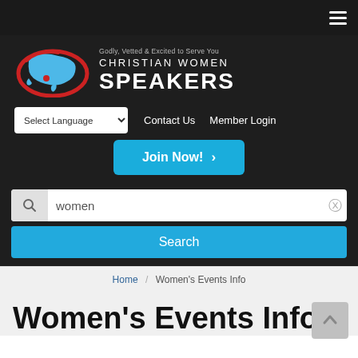[Figure (screenshot): Website header screenshot for Christian Women Speakers showing logo with US map graphic, navigation elements, search bar, breadcrumb, and page title]
Christian Women Speakers — Godly, Vetted & Excited to Serve You
Select Language
Contact Us   Member Login
Join Now! ›
women
Search
Home / Women's Events Info
Women's Events Info